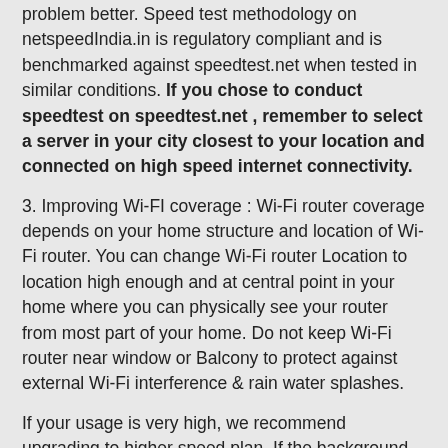problem better. Speed test methodology on netspeedIndia.in is regulatory compliant and is benchmarked against speedtest.net when tested in similar conditions. If you chose to conduct speedtest on speedtest.net , remember to select a server in your city closest to your location and connected on high speed internet connectivity.
3. Improving Wi-FI coverage : Wi-Fi router coverage depends on your home structure and location of Wi-Fi router. You can change Wi-Fi router Location to location high enough and at central point in your home where you can physically see your router from most part of your home. Do not keep Wi-Fi router near window or Balcony to protect against external Wi-Fi interference & rain water splashes.
If your usage is very high, we recommend upgrading to higher speed plan. If the background or other unintended usage is consuming all the Bandwidth subscribed by you, you will face Lower Speed, High Latency and dropped Connectivity when you need it most.
If your problem is not resolved , you can call us back on